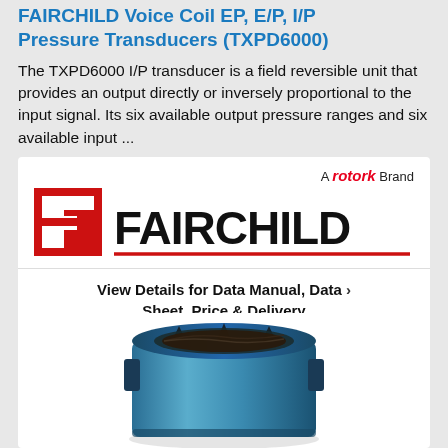FAIRCHILD Voice Coil EP, E/P, I/P Pressure Transducers (TXPD6000)
The TXPD6000 I/P transducer is a field reversible unit that provides an output directly or inversely proportional to the input signal. Its six available output pressure ranges and six available input ...
[Figure (logo): Fairchild brand logo with red square icon and FAIRCHILD text, with 'A rotork Brand' label]
View Details for Data Manual, Data Sheet, Price & Delivery
[Figure (photo): Photo of a blue cylindrical voice coil pressure transducer component]